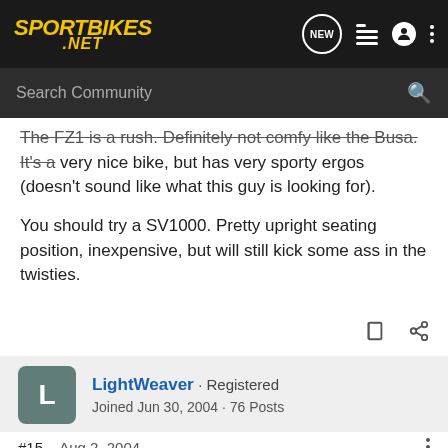Sportbikes .NET
The FZ1 is a rush. Definitely not comfy like the Busa. It's a very nice bike, but has very sporty ergos (doesn't sound like what this guy is looking for).
You should try a SV1000. Pretty upright seating position, inexpensive, but will still kick some ass in the twisties.
LightWeaver · Registered
Joined Jun 30, 2004 · 76 Posts
#15 · Aug 2, 2004
How about the ZX12R or the new BMW (K1200??? dunno).